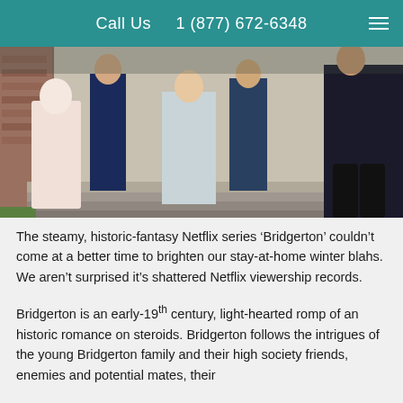Call Us  1 (877) 672-6348
[Figure (photo): Cast of Netflix series Bridgerton posed on steps of a historic building, dressed in Regency-era costumes]
The steamy, historic-fantasy Netflix series ‘Bridgerton’ couldn’t come at a better time to brighten our stay-at-home winter blahs. We aren’t surprised it’s shattered Netflix viewership records.
Bridgerton is an early-19th century, light-hearted romp of an historic romance on steroids. Bridgerton follows the intrigues of the young Bridgerton family and their high society friends, enemies and potential mates, their